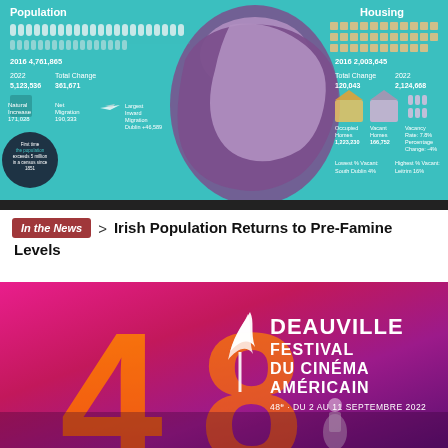[Figure (infographic): Irish Census 2022 infographic showing Population and Housing statistics with a map of Ireland. Population: 2016 4,761,865; 2022 5,123,536; Total Change 361,671. Natural Increase 171,028, Net Migration 190,333. Largest Inward Migration Dublin +46,589. First time the population exceeds 5 million in a census since 1851. Housing: 2016 2,003,645; Total Change 120,043; 2022 2,124,668. Occupied Homes 1,223,230; Vacant Homes 166,752; Vacancy Rate 7.8%; Percentage Change -4%. Lowest % Vacant: South Dublin 4%; Highest % Vacant: Leitrim 16%.]
In the News > Irish Population Returns to Pre-Famine Levels
[Figure (illustration): Deauville Festival du Cinéma Américain poster. 48e DU 2 AU 11 SEPTEMBRE 2022. Bold orange number 48 on gradient pink/magenta background with white film reel logo and white text.]